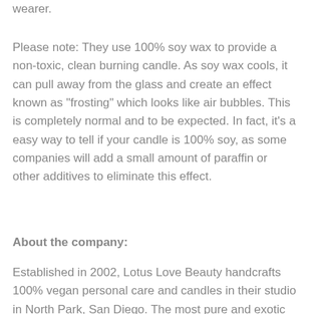wearer.
Please note: They use 100% soy wax to provide a non-toxic, clean burning candle. As soy wax cools, it can pull away from the glass and create an effect known as "frosting" which looks like air bubbles. This is completely normal and to be expected. In fact, it's a easy way to tell if your candle is 100% soy, as some companies will add a small amount of paraffin or other additives to eliminate this effect.
About the company:
Established in 2002, Lotus Love Beauty handcrafts 100% vegan personal care and candles in their studio in North Park, San Diego. The most pure and exotic oils...